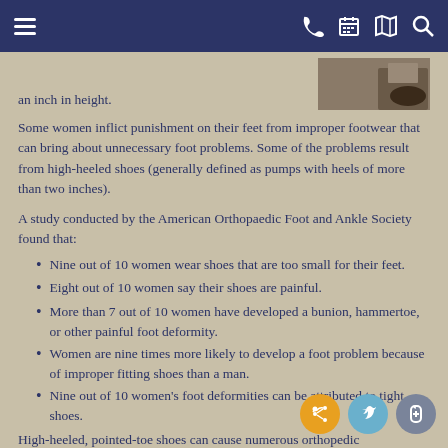[Navigation bar with menu, phone, calendar, map, and search icons]
an inch in height.
Some women inflict punishment on their feet from improper footwear that can bring about unnecessary foot problems. Some of the problems result from high-heeled shoes (generally defined as pumps with heels of more than two inches).
A study conducted by the American Orthopaedic Foot and Ankle Society found that:
Nine out of 10 women wear shoes that are too small for their feet.
Eight out of 10 women say their shoes are painful.
More than 7 out of 10 women have developed a bunion, hammertoe, or other painful foot deformity.
Women are nine times more likely to develop a foot problem because of improper fitting shoes than a man.
Nine out of 10 women's foot deformities can be attributed to tight shoes.
High-heeled, pointed-toe shoes can cause numerous orthopedic